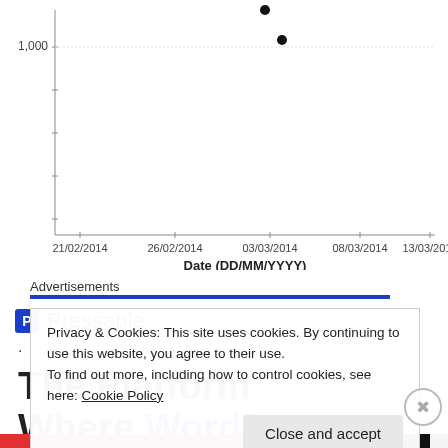[Figure (continuous-plot): Scatter plot (partial, top cropped) with x-axis labeled 'Date (DD/MM/YYYY)' ranging from 21/02/2014 to 13/03/2014, y-axis shows value ~1,000. Two visible data points near 03/03/2014.]
Advertisements
[Figure (logo): Pressable logo: blue square with P icon and text 'Pressable']
. . . . . . . . .
The Platform Where WordPress
Privacy & Cookies: This site uses cookies. By continuing to use this website, you agree to their use.
To find out more, including how to control cookies, see here: Cookie Policy
Close and accept